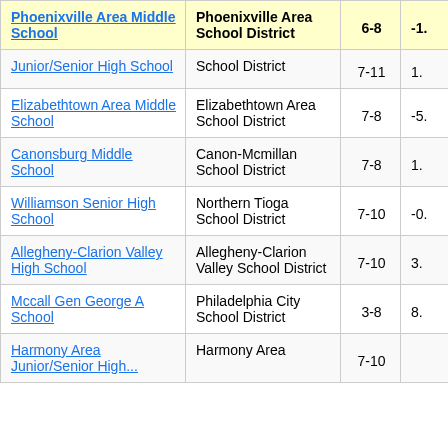| School | District | Grades | Score |
| --- | --- | --- | --- |
| Phoenixville Area Middle School | Phoenixville Area School District | 6-8 | -1. |
| Junior/Senior High School | School District | 7-11 | 1. |
| Elizabethtown Area Middle School | Elizabethtown Area School District | 7-8 | -5. |
| Canonsburg Middle School | Canon-Mcmillan School District | 7-8 | 1. |
| Williamson Senior High School | Northern Tioga School District | 7-10 | -0. |
| Allegheny-Clarion Valley High School | Allegheny-Clarion Valley School District | 7-10 | 3. |
| Mccall Gen George A School | Philadelphia City School District | 3-8 | 8. |
| Harmony Area Junior/Senior High School | Harmony Area | 7-10 |  |